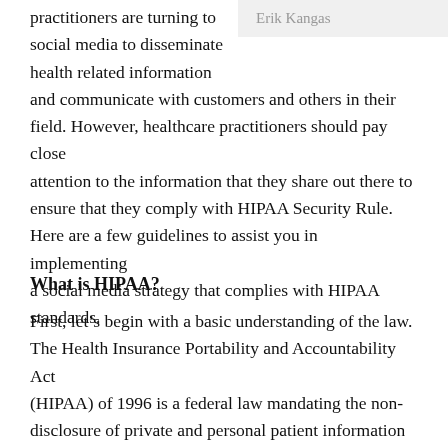practitioners are turning to social media to disseminate health related information and communicate with customers and others in their field. However, healthcare practitioners should pay close attention to the information that they share out there to ensure that they comply with HIPAA Security Rule. Here are a few guidelines to assist you in implementing a social media strategy that complies with HIPAA standards.
Erik Kangas
What is HIPAA?
First, let's begin with a basic understanding of the law. The Health Insurance Portability and Accountability Act (HIPAA) of 1996 is a federal law mandating the non-disclosure of private and personal patient information by healthcare professionals and their business associates. The...